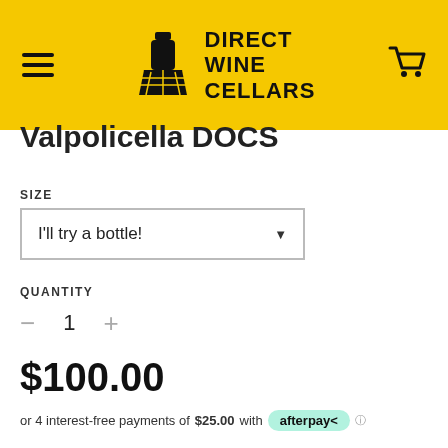DIRECT WINE CELLARS
Valpolicella DOCS
SIZE
I'll try a bottle!
QUANTITY
1
$100.00
or 4 interest-free payments of $25.00 with afterpay